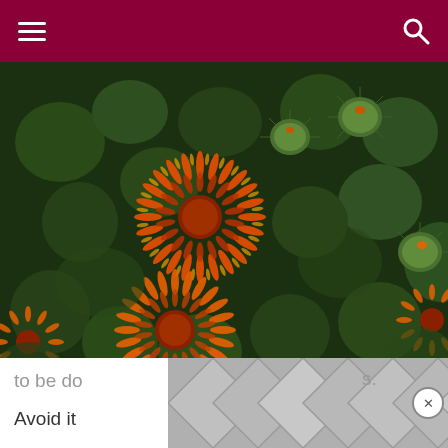[Figure (photo): Close-up photograph of orange safflower blossoms with spiky petals among green foliage with round, spiky buds]
Cottonseed Oil: Same issues as with all of the other seed oils. High in omega-6s and, like Canola oil, is not even from an edible plant! I guess something has to be do... s. Avoid it